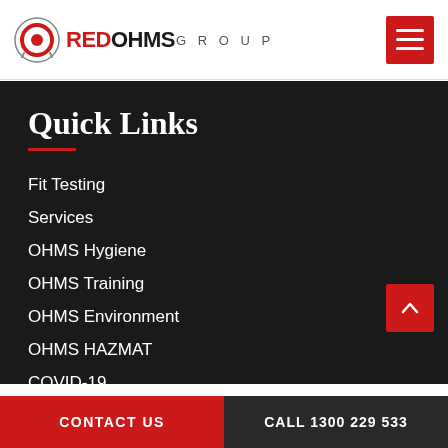[Figure (logo): Red Ohms Group logo with red circular icon and text]
Quick Links
Fit Testing
Services
OHMS Hygiene
OHMS Training
OHMS Environment
OHMS HAZMAT
COVID-19
Industries
Locations
CONTACT US   CALL 1300 229 533